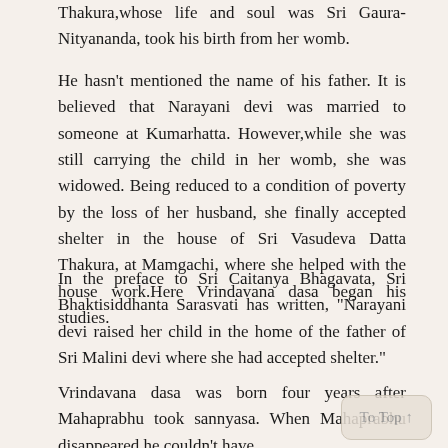Thakura,whose life and soul was Sri Gaura-Nityananda, took his birth from her womb.
He hasn't mentioned the name of his father. It is believed that Narayani devi was married to someone at Kumarhatta. However,while she was still carrying the child in her womb, she was widowed. Being reduced to a condition of poverty by the loss of her husband, she finally accepted shelter in the house of Sri Vasudeva Datta Thakura, at Mamgachi, where she helped with the house work.Here Vrindavana dasa began his studies.
In the preface to Sri Caitanya Bhagavata, Sri Bhaktisiddhanta Sarasvati has written, "Narayani devi raised her child in the home of the father of Sri Malini devi where she had accepted shelter."
Vrindavana dasa was born four years after Mahaprabhu took sannyasa. When Mahaprabhu disappeared he couldn't have